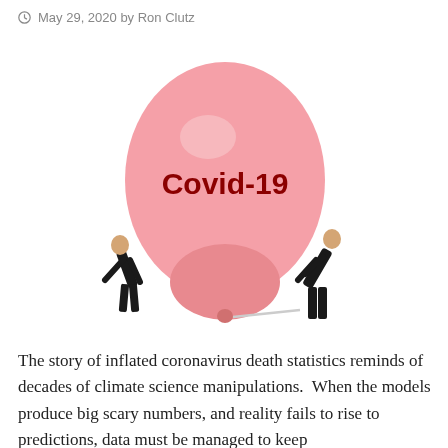May 29, 2020 by Ron Clutz
[Figure (illustration): A large pink balloon labeled 'Covid-19' in bold dark red text, with two figures in black suits on either side — one on the left leaning over with head down, and one on the right bending over blowing air into the balloon via a tube.]
The story of inflated coronavirus death statistics reminds of decades of climate science manipulations.  When the models produce big scary numbers, and reality fails to rise to predictions, data must be managed to keep